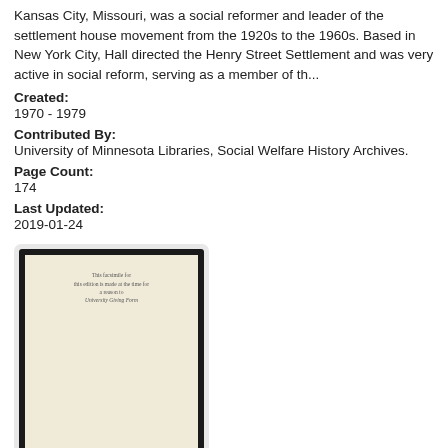Kansas City, Missouri, was a social reformer and leader of the settlement house movement from the 1920s to the 1960s. Based in New York City, Hall directed the Henry Street Settlement and was very active in social reform, serving as a member of th...
Created:
1970 - 1979
Contributed By:
University of Minnesota Libraries, Social Welfare History Archives.
Page Count:
174
Last Updated:
2019-01-24
[Figure (photo): Thumbnail image of a document page with calligraphic text on a cream/beige background with a dark border frame]